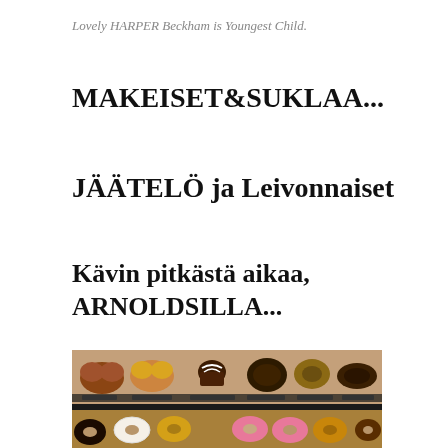Lovely HARPER Beckham is Youngest Child.
MAKEISET&SUKLAA...
JÄÄTELÖ ja Leivonnaiset
Kävin pitkästä aikaa, ARNOLDSILLA...
[Figure (photo): A display case showing assorted donuts and pastries on trays, including heart-shaped, glazed, and chocolate donuts arranged in rows.]